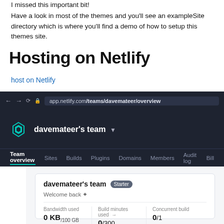I missed this important bit!
Have a look in most of the themes and you'll see an exampleSite directory which is where you'll find a demo of how to setup this themes site.
Hosting on Netlify
host on Netlify
[Figure (screenshot): Screenshot of app.netlify.com/teams/davemateer/overview showing Netlify dashboard with davemateer's team Starter plan, Team overview navigation, and stats showing 0 KB/100 GB bandwidth used, 0/300 build minutes used, and 0/1 concurrent builds.]